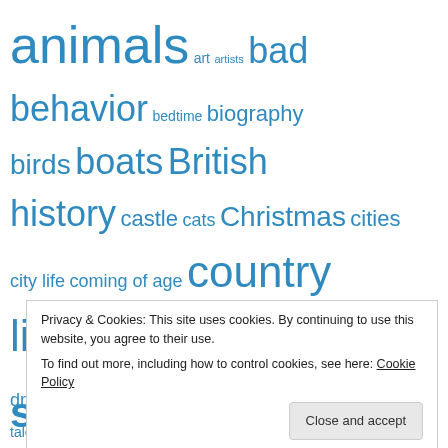[Figure (other): Tag cloud of book/reading topics in various font sizes, all in blue. Tags include: animals, art, artists, bad behavior, bedtime, biography, birds, boats, British history, castle, cats, Christmas, cities, city life, coming of age, country life, crime, death, dogs, dragons, England, fairies, Fairy Tale, fairy tale updated, family, family history, farming, folktales, friendship, grandparents, history, knights, London, Magic, medieval history, mice, morality, music, mystery, nature, New York, night, strong girls, theatre, toys, travel, treasure, violence]
Privacy & Cookies: This site uses cookies. By continuing to use this website, you agree to their use.
To find out more, including how to control cookies, see here: Cookie Policy
Close and accept